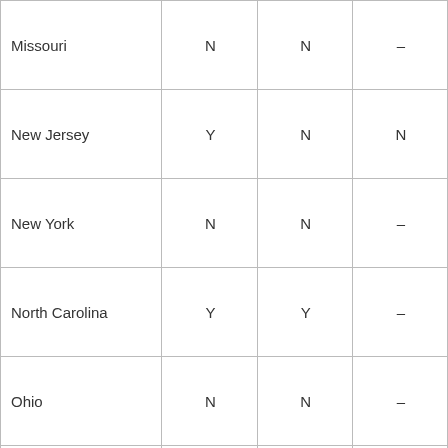| Missouri | N | N | – |
| New Jersey | Y | N | N |
| New York | N | N | – |
| North Carolina | Y | Y | – |
| Ohio | N | N | – |
| Pennsylvania | – | – | No req. |
| Texas | Y | N | – |